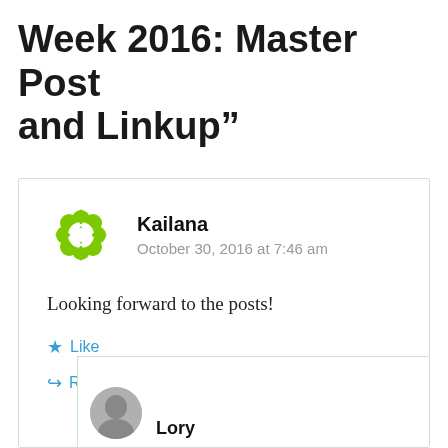Week 2016: Master Post and Linkup”
Kailana
October 30, 2016 at 7:46 am
Looking forward to the posts!
Like
Reply
Lory